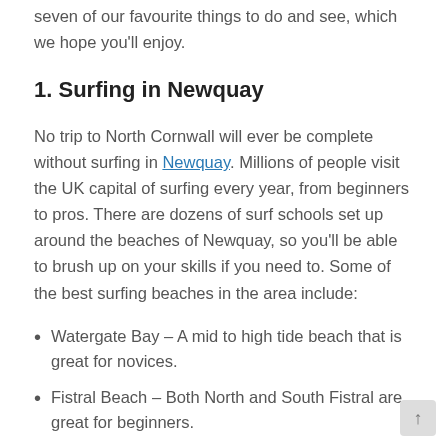seven of our favourite things to do and see, which we hope you'll enjoy.
1. Surfing in Newquay
No trip to North Cornwall will ever be complete without surfing in Newquay. Millions of people visit the UK capital of surfing every year, from beginners to pros. There are dozens of surf schools set up around the beaches of Newquay, so you'll be able to brush up on your skills if you need to. Some of the best surfing beaches in the area include:
Watergate Bay – A mid to high tide beach that is great for novices.
Fistral Beach – Both North and South Fistral are great for beginners.